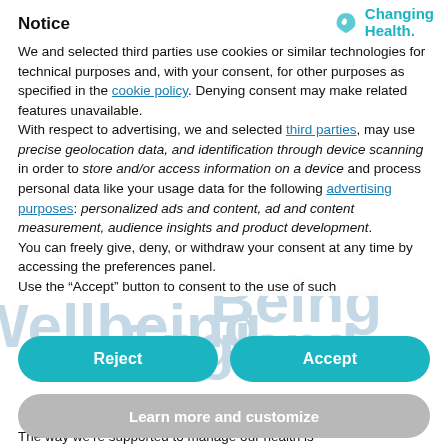Notice
We and selected third parties use cookies or similar technologies for technical purposes and, with your consent, for other purposes as specified in the cookie policy. Denying consent may make related features unavailable.
With respect to advertising, we and selected third parties, may use precise geolocation data, and identification through device scanning in order to store and/or access information on a device and process personal data like your usage data for the following advertising purposes: personalized ads and content, ad and content measurement, audience insights and product development.
You can freely give, deny, or withdraw your consent at any time by accessing the preferences panel.
Use the “Accept” button to consent to the use of such
[Figure (other): Two teal/cyan rounded rectangle buttons side by side: 'Reject' on the left and 'Accept' on the right]
[Figure (other): Gray rounded rectangle button: 'Learn more and customize']
The way we’re supported to manage our health is